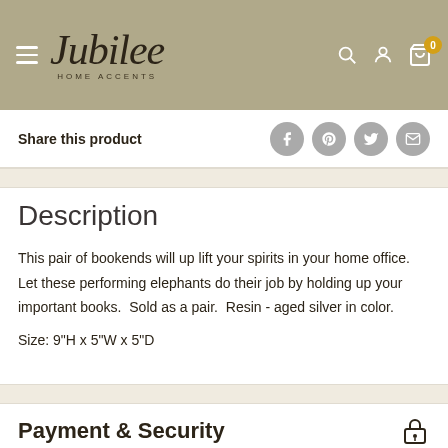[Figure (logo): Jubilee Home Accents logo with script font on khaki/tan background header with hamburger menu, search, account, and cart icons]
Share this product
Description
This pair of bookends will up lift your spirits in your home office. Let these performing elephants do their job by holding up your important books.  Sold as a pair.  Resin - aged silver in color.
Size: 9"H x 5"W x 5"D
Payment & Security